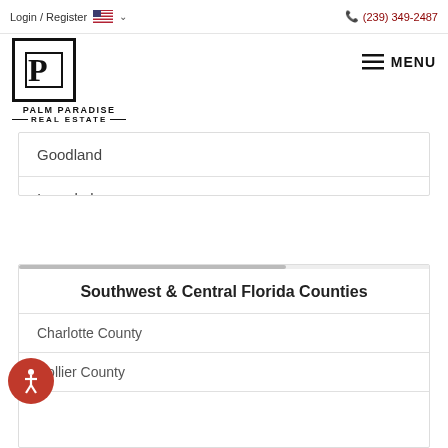Login / Register  (239) 349-2487
[Figure (logo): Palm Paradise Real Estate logo with stylized P in a square box]
MENU
Goodland
Immokalee
Marco Island
Naples
Southwest & Central Florida Counties
Charlotte County
Collier County